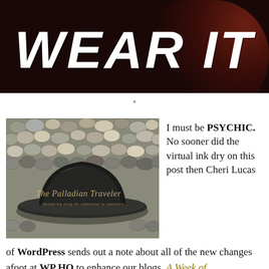WEAR IT
[Figure (photo): Blog header image showing a dark fedora hat resting on cobblestones with text overlay reading 'The Palladian Traveler - Meandering along the cobblestone to somewhere...']
I must be PSYCHIC. No sooner did the virtual ink dry on this post then Cheri Lucas
of WordPress sends out a note about all of the new changes afoot at WP HQ to enhance our blogs, A Week of